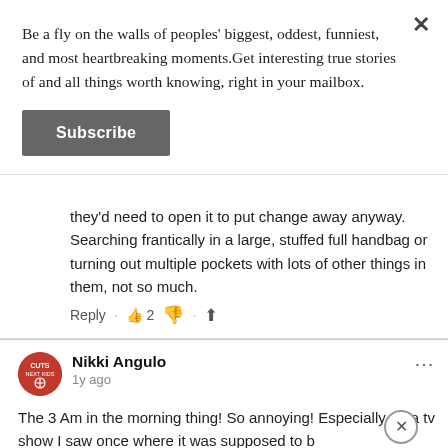Be a fly on the walls of peoples' biggest, oddest, funniest, and most heartbreaking moments.Get interesting true stories of and all things worth knowing, right in your mailbox.
Subscribe
they'd need to open it to put change away anyway. Searching frantically in a large, stuffed full handbag or turning out multiple pockets with lots of other things in them, not so much.
Reply · 2 · [share]
Nikki Angulo
1y ago
The 3 Am in the morning thing! So annoying! Especially on a tv show I saw once where it was supposed to be a news anchor who said it!
Reply · 2 · [share]